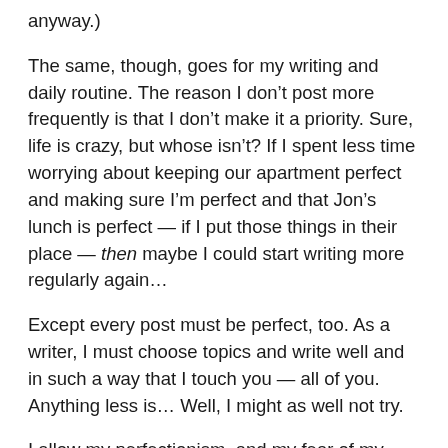anyway.)
The same, though, goes for my writing and daily routine. The reason I don't post more frequently is that I don't make it a priority. Sure, life is crazy, but whose isn't? If I spent less time worrying about keeping our apartment perfect and making sure I'm perfect and that Jon's lunch is perfect — if I put those things in their place — then maybe I could start writing more regularly again…
Except every post must be perfect, too. As a writer, I must choose topics and write well and in such a way that I touch you — all of you. Anything less is… Well, I might as well not try.
I allow my perfectionism, and my fear of my perfectionism, to control me. Hence, the very things that I am trying to control are, in fact, controlling me.